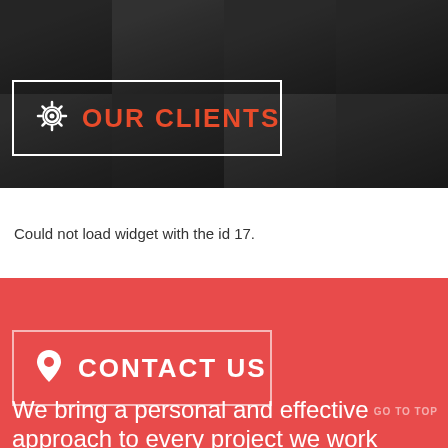[Figure (photo): Dark monochrome grid of portrait photos of business people, used as a background for the Our Clients section]
OUR CLIENTS
Could not load widget with the id 17.
CONTACT US
We bring a personal and effective approach to every project we work on
GO TO TOP